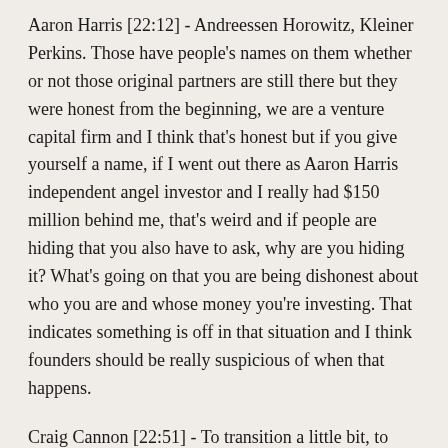Aaron Harris [22:12] - Andreessen Horowitz, Kleiner Perkins. Those have people's names on them whether or not those original partners are still there but they were honest from the beginning, we are a venture capital firm and I think that's honest but if you give yourself a name, if I went out there as Aaron Harris independent angel investor and I really had $150 million behind me, that's weird and if people are hiding that you also have to ask, why are you hiding it? What's going on that you are being dishonest about who you are and whose money you're investing. That indicates something is off in that situation and I think founders should be really suspicious of when that happens.
Craig Cannon [22:51] - To transition a little bit, to Series A. How do you think about process, obviously, Aaron, working on the Series A program at YC, what does process look like for a Series A company?
Aaron Harris [23:04] - The process of fundraising for a Series A company is not actually that different from a seed. It's just a different cast of characters and kind of a different amount of time